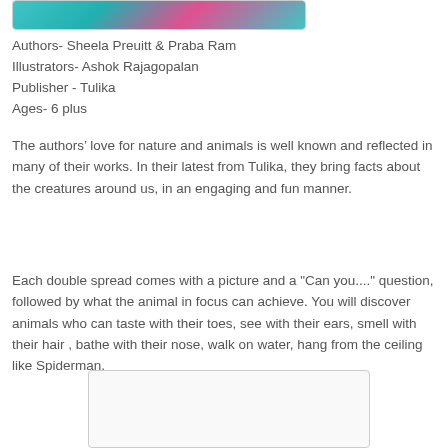[Figure (illustration): Book cover image with colorful teal/pink background featuring animal illustrations]
Authors- Sheela Preuitt & Praba Ram
Illustrators- Ashok Rajagopalan
Publisher - Tulika
Ages- 6 plus
The authors’ love for nature and animals is well known and reflected in many of their works. In their latest from Tulika, they bring facts about the creatures around us, in an engaging and fun manner.
Each double spread comes with a picture and a "Can you...." question, followed by what the animal in focus can achieve. You will discover animals who can taste with their toes, see with their ears, smell with their hair , bathe with their nose, walk on water, hang from the ceiling like Spiderman.
[Figure (illustration): A second book-related image placeholder at the bottom of the page]